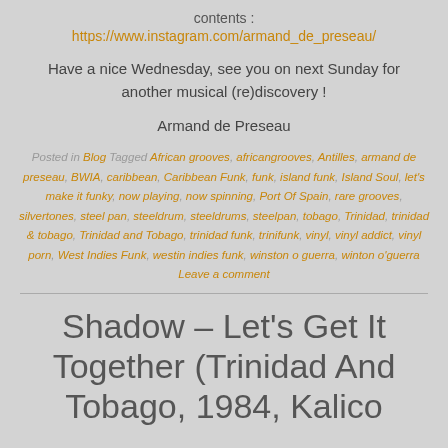contents :
https://www.instagram.com/armand_de_preseau/
Have a nice Wednesday, see you on next Sunday for another musical (re)discovery !
Armand de Preseau
Posted in Blog  Tagged African grooves, africangrooves, Antilles, armand de preseau, BWIA, caribbean, Caribbean Funk, funk, island funk, Island Soul, let's make it funky, now playing, now spinning, Port Of Spain, rare grooves, silvertones, steel pan, steeldrum, steeldrums, steelpan, tobago, Trinidad, trinidad & tobago, Trinidad and Tobago, trinidad funk, trinifunk, vinyl, vinyl addict, vinyl porn, West Indies Funk, westin indies funk, winston o guerra, winton o'guerra  Leave a comment
Shadow – Let's Get It Together (Trinidad And Tobago, 1984, Kalico